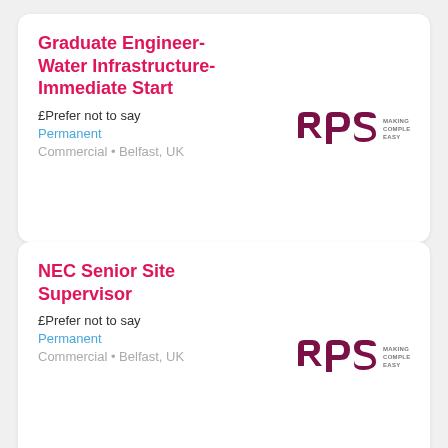Graduate Engineer-Water Infrastructure-Immediate Start
£Prefer not to say
Permanent
Commercial • Belfast, UK
[Figure (logo): RPS logo - stylized 'rps' letters in dark magenta/maroon with 'MAKING COMPLEX EASY' text]
NEC Senior Site Supervisor
£Prefer not to say
Permanent
Commercial • Belfast, UK
[Figure (logo): RPS logo - stylized 'rps' letters in dark magenta/maroon with 'MAKING COMPLEX EASY' text]